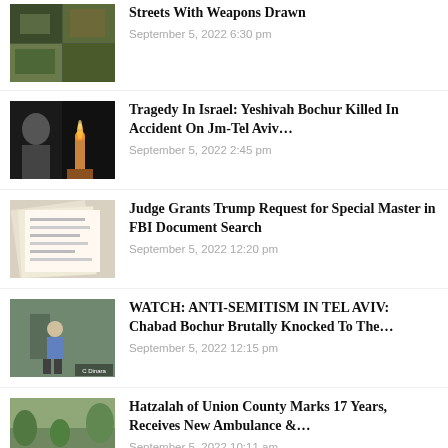Streets With Weapons Drawn
September 5, 2022 6:30 pm
Tragedy In Israel: Yeshivah Bochur Killed In Accident On Jm-Tel Aviv…
September 5, 2022 2:45 pm
Judge Grants Trump Request for Special Master in FBI Document Search
September 5, 2022 12:20 pm
WATCH: ANTI-SEMITISM IN TEL AVIV: Chabad Bochur Brutally Knocked To The…
September 5, 2022 12:15 pm
Hatzalah of Union County Marks 17 Years, Receives New Ambulance &…
September 5, 2022 10:11 am